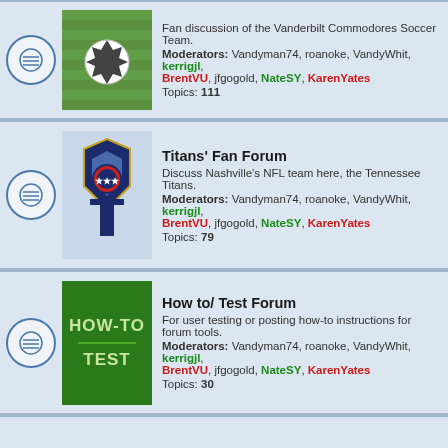Fan discussion of the Vanderbilt Commodores Soccer Team. Moderators: Vandyman74, roanoke, VandyWhit, kerrigjl, BrentVU, jfgogold, NateSY, KarenYates. Topics: 111
Titans' Fan Forum. Discuss Nashville's NFL team here, the Tennessee Titans. Moderators: Vandyman74, roanoke, VandyWhit, kerrigjl, BrentVU, jfgogold, NateSY, KarenYates. Topics: 79
How to/ Test Forum. For user testing or posting how-to instructions for forum tools. Moderators: Vandyman74, roanoke, VandyWhit, kerrigjl, BrentVU, jfgogold, NateSY, KarenYates. Topics: 30